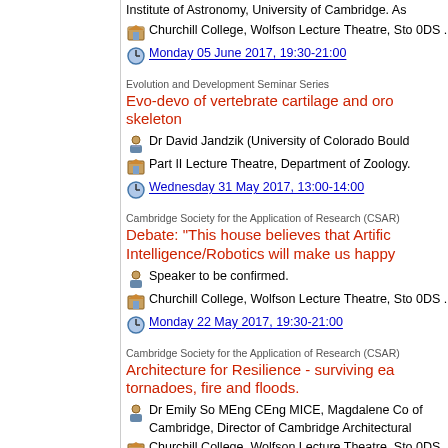Institute of Astronomy, University of Cambridge. As
Churchill College, Wolfson Lecture Theatre, Sto 0DS .
Monday 05 June 2017, 19:30-21:00
Evolution and Development Seminar Series
Evo-devo of vertebrate cartilage and oro skeleton
Dr David Jandzik (University of Colorado Bould
Part II Lecture Theatre, Department of Zoology.
Wednesday 31 May 2017, 13:00-14:00
Cambridge Society for the Application of Research (CSAR)
Debate: "This house believes that Artific Intelligence/Robotics will make us happy
Speaker to be confirmed.
Churchill College, Wolfson Lecture Theatre, Sto 0DS .
Monday 22 May 2017, 19:30-21:00
Cambridge Society for the Application of Research (CSAR)
Architecture for Resilience - surviving ea tornadoes, fire and floods.
Dr Emily So MEng CEng MICE, Magdalene Co of Cambridge, Director of Cambridge Architectural
Churchill College, Wolfson Lecture Theatre, Sto 0DS